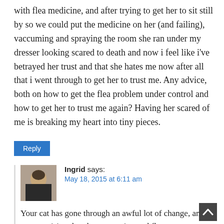with flea medicine, and after trying to get her to sit still by so we could put the medicine on her (and failing), vaccuming and spraying the room she ran under my dresser looking scared to death and now i feel like i've betrayed her trust and that she hates me now after all that i went through to get her to trust me. Any advice, both on how to get the flea problem under control and how to get her to trust me again? Having her scared of me is breaking my heart into tiny pieces.
Reply
Ingrid says: May 18, 2015 at 6:11 am
[Figure (photo): Small avatar photo of Ingrid, a woman with dark hair]
Your cat has gone through an awful lot of change, and it's not surprising that the vacuuming and flea